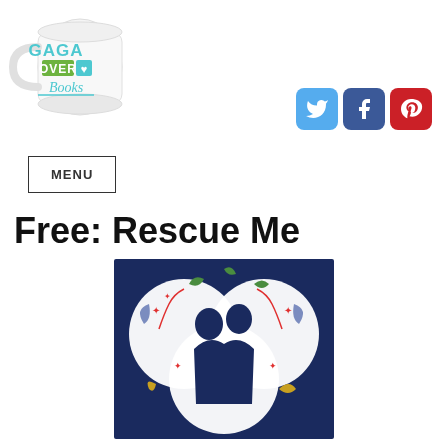[Figure (logo): White coffee mug with 'GAGA OVER Books' text in teal, green and blue colors with a heart icon]
[Figure (infographic): Social media icons: Twitter (blue bird), Facebook (blue f), Pinterest (red p)]
MENU
Free: Rescue Me
[Figure (photo): Book cover for 'Rescue Me' showing silhouettes of two people embracing on a dark navy background with decorative floral elements in red, green, gold and blue]